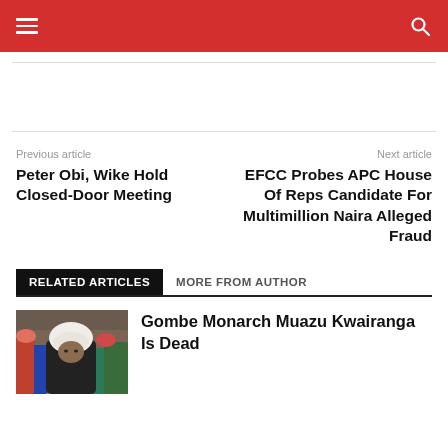Navigation bar with hamburger menu and search icon
Previous article
Peter Obi, Wike Hold Closed-Door Meeting
Next article
EFCC Probes APC House Of Reps Candidate For Multimillion Naira Alleged Fraud
RELATED ARTICLES  MORE FROM AUTHOR
[Figure (photo): Photo of Gombe Monarch Muazu Kwairanga, an elderly man in white turban and traditional attire, surrounded by others]
Gombe Monarch Muazu Kwairanga Is Dead